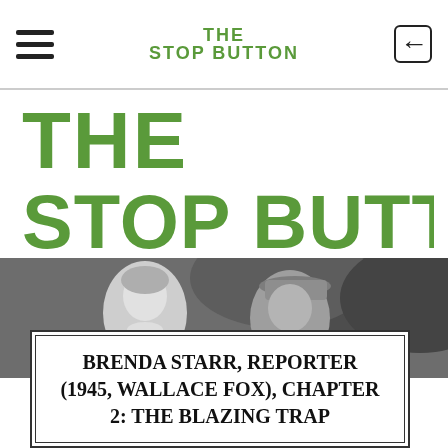THE STOP BUTTON
THE STOP BUTTON
[Figure (photo): Black and white still from a 1945 film showing a woman and a man wearing a hat, outdoors with foliage in the background]
BRENDA STARR, REPORTER (1945, WALLACE FOX), CHAPTER 2: THE BLAZING TRAP